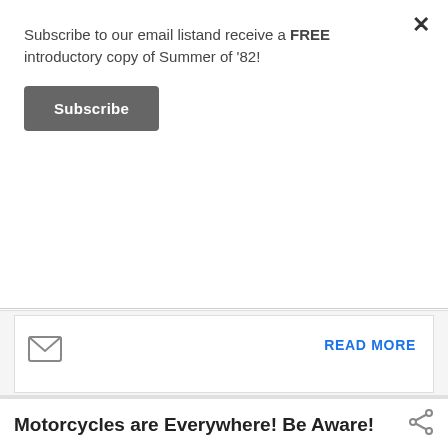Subscribe to our email listand receive a FREE introductory copy of Summer of '82!
Subscribe
[Figure (other): Email envelope icon]
READ MORE
Motorcycles are Everywhere! Be Aware!
May 16, 2010
[Figure (photo): Motorcyclist in yellow jacket with text '4D' and '10' visible]
If you drive an automobile, please take four minutes to view this video: Intersection Video Look Out for Motorcyclists - Use your eyes and mirrors to see what's around. Don't